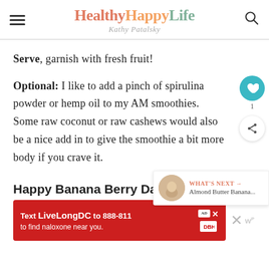HealthyHappyLife - Kathy Patalsky
Serve, garnish with fresh fruit!
Optional: I like to add a pinch of spirulina powder or hemp oil to my AM smoothies. Some raw coconut or raw cashews would also be a nice add in to give the smoothie a bit more body if you crave it.
Happy Banana Berry Day!
[Figure (screenshot): Ad banner: Text LiveLongDC to 888-811 to find naloxone near you.]